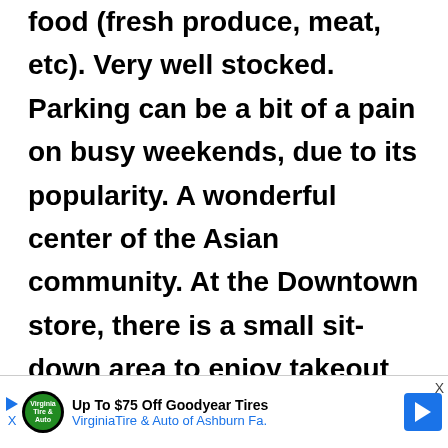food (fresh produce, meat, etc). Very well stocked. Parking can be a bit of a pain on busy weekends, due to its popularity. A wonderful center of the Asian community. At the Downtown store, there is a small sit-down area to enjoy takeout style sushi and bentos, and a Kinokuniya bookstore attached. A Daiso is located
[Figure (other): Advertisement banner at the bottom: Virginia Tire & Auto of Ashburn Fa. with Goodyear Tires logo and blue navigation arrow icon. Text reads 'Up To $75 Off Goodyear Tires' and 'VirginiaTire & Auto of Ashburn Fa.']